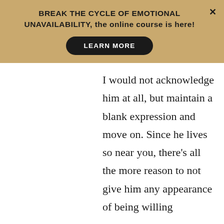BREAK THE CYCLE OF EMOTIONAL UNAVAILABILITY, the online course is here!
LEARN MORE
I would not acknowledge him at all, but maintain a blank expression and move on. Since he lives so near you, there’s all the more reason to not give him any appearance of being willing…